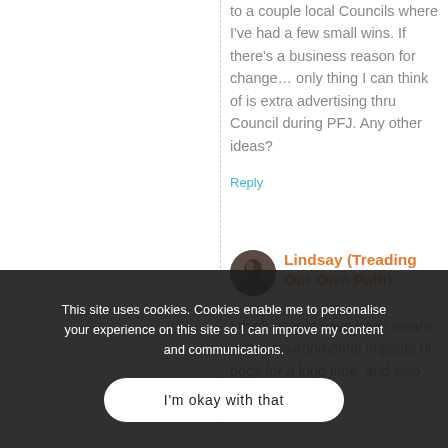to a couple local Councils where I've had a few small wins. If there's a business reason for change… only thing I can think of is extra advertising thru Council during PFJ. Any other ideas?
Reply
[Figure (photo): Circular avatar photo of Lindsay, a person with dark hair]
Lindsay (Treading Our Own Path)
I think people have been aware of the environmental impacts of bags for a long time, and also
This site uses cookies. Cookies enable me to personalise your experience on this site so I can improve my content and communications.
I'm okay with that